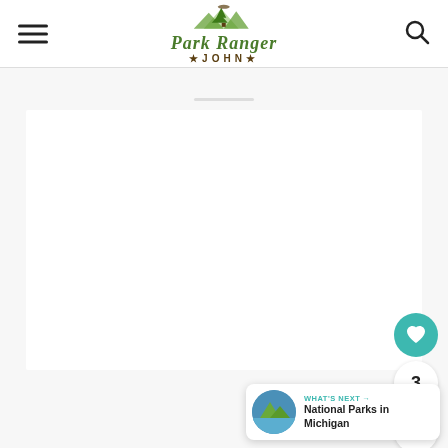Park Ranger John
[Figure (screenshot): Website screenshot of Park Ranger John blog showing header with logo, hamburger menu, search icon, a large white content block, social sidebar with heart button (teal), count of 3, and share button, and a 'What's Next' card showing National Parks in Michigan]
3
WHAT'S NEXT → National Parks in Michigan